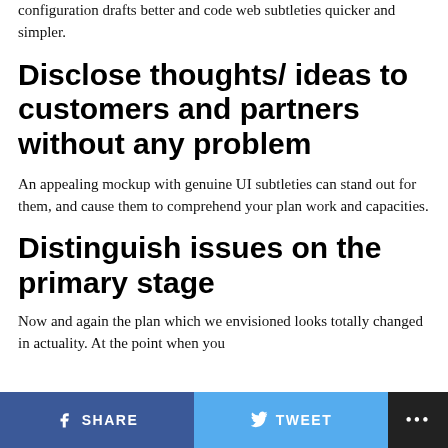configuration drafts better and code web subtleties quicker and simpler.
Disclose thoughts/ ideas to customers and partners without any problem
An appealing mockup with genuine UI subtleties can stand out for them, and cause them to comprehend your plan work and capacities.
Distinguish issues on the primary stage
Now and again the plan which we envisioned looks totally changed in actuality. At the point when you
SHARE   TWEET   ...